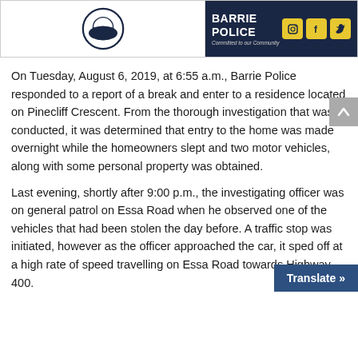[Figure (logo): Barrie Police logo with circular emblem on white background and dark blue banner with text 'BARRIE POLICE — Committed to our Community' and yellow social media icons (Instagram, Facebook, Twitter)]
On Tuesday, August 6, 2019, at 6:55 a.m., Barrie Police responded to a report of a break and enter to a residence located on Pinecliff Crescent. From the thorough investigation that was conducted, it was determined that entry to the home was made overnight while the homeowners slept and two motor vehicles,  along with some personal property was obtained.
Last evening, shortly after 9:00 p.m., the investigating officer was on general patrol on Essa Road when he observed one of the vehicles that had been stolen the day before. A traffic stop was initiated, however as the officer approached the car, it sped off at a high rate of speed travelling on Essa Road towards Highway 400.